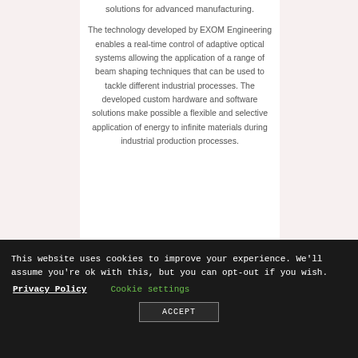solutions for advanced manufacturing.
The technology developed by EXOM Engineering enables a real-time control of adaptive optical systems allowing the application of a range of beam shaping techniques that can be used to tackle different industrial processes. The developed custom hardware and software solutions make possible a flexible and selective application of energy to infinite materials during industrial production processes.
This website uses cookies to improve your experience. We'll assume you're ok with this, but you can opt-out if you wish.
Privacy Policy
Cookie settings
ACCEPT